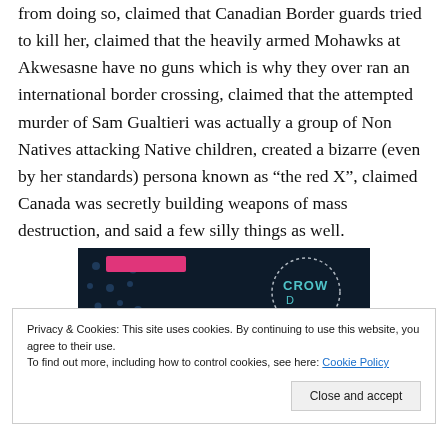from doing so, claimed that Canadian Border guards tried to kill her, claimed that the heavily armed Mohawks at Akwesasne have no guns which is why they over ran an international border crossing, claimed that the attempted murder of Sam Gualtieri was actually a group of Non Natives attacking Native children, created a bizarre (even by her standards) persona known as “the red X”, claimed Canada was secretly building weapons of mass destruction, and said a few silly things as well.
[Figure (screenshot): Partial advertisement banner with dark navy background, a pink/magenta bar, dotted pattern on left, and a circular logo on right showing text 'CROWD' in teal/cyan]
Privacy & Cookies: This site uses cookies. By continuing to use this website, you agree to their use.
To find out more, including how to control cookies, see here: Cookie Policy
Close and accept